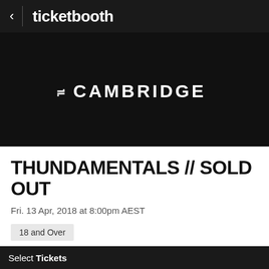< ticketbooth
[Figure (logo): The Cambridge venue logo — bold white text reading 'THE CAMBRIDGE' with a stylized equals-sign prefix on a black background]
THUNDAMENTALS // SOLD OUT
Fri. 13 Apr, 2018 at 8:00pm AEST
18 and Over
GET TICKETS   DETAILS
Select Tickets